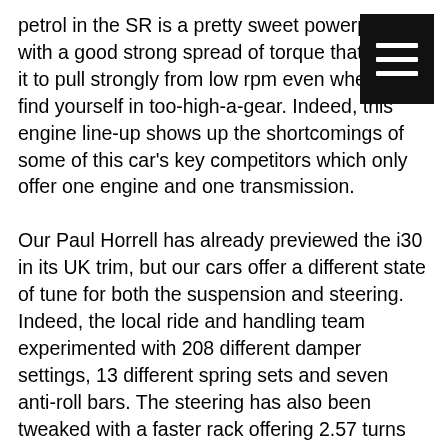petrol in the SR is a pretty sweet powerplant with a good strong spread of torque that allows it to pull strongly from low rpm even when you find yourself in too-high-a-gear. Indeed, this engine line-up shows up the shortcomings of some of this car's key competitors which only offer one engine and one transmission.

Our Paul Horrell has already previewed the i30 in its UK trim, but our cars offer a different state of tune for both the suspension and steering. Indeed, the local ride and handling team experimented with 208 different damper settings, 13 different spring sets and seven anti-roll bars. The steering has also been tweaked with a faster rack offering 2.57 turns lock-to-lock, down from more than three in OS cars.